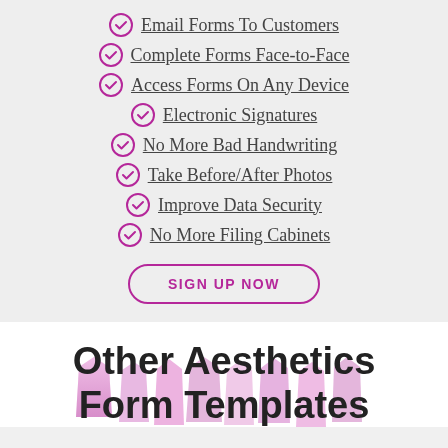Email Forms To Customers
Complete Forms Face-to-Face
Access Forms On Any Device
Electronic Signatures
No More Bad Handwriting
Take Before/After Photos
Improve Data Security
No More Filing Cabinets
SIGN UP NOW
Other Aesthetics Form Templates